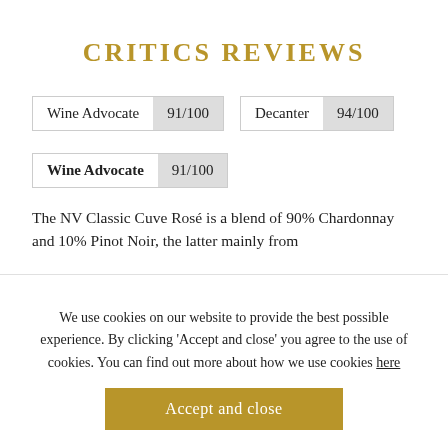CRITICS REVIEWS
| Source | Score | Source | Score |
| --- | --- | --- | --- |
| Wine Advocate | 91/100 | Decanter | 94/100 |
| Source | Score |
| --- | --- |
| Wine Advocate | 91/100 |
The NV Classic Cuve Rosé is a blend of 90% Chardonnay and 10% Pinot Noir, the latter mainly from
We use cookies on our website to provide the best possible experience. By clicking 'Accept and close' you agree to the use of cookies. You can find out more about how we use cookies here
Accept and close